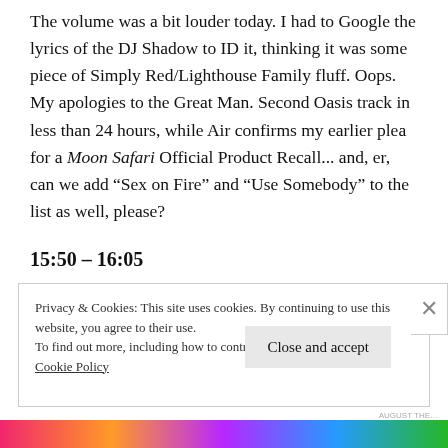The volume was a bit louder today. I had to Google the lyrics of the DJ Shadow to ID it, thinking it was some piece of Simply Red/Lighthouse Family fluff. Oops. My apologies to the Great Man. Second Oasis track in less than 24 hours, while Air confirms my earlier plea for a Moon Safari Official Product Recall... and, er, can we add “Sex on Fire” and “Use Somebody” to the list as well, please?
15:50 – 16:05
Privacy & Cookies: This site uses cookies. By continuing to use this website, you agree to their use.
To find out more, including how to control cookies, see here:
Cookie Policy